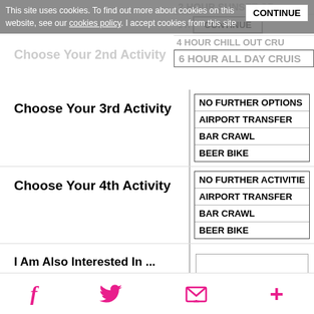This site uses cookies. To find out more about cookies on this website, see our cookies policy. I accept cookies from this site. CONTINUE
2 HOUR SUNSET CRUISE
4 HOUR CHILL OUT CRU...
6 HOUR ALL DAY CRUIS...
Choose Your 3rd Activity
NO FURTHER OPTIONS
AIRPORT TRANSFER
BAR CRAWL
BEER BIKE
Choose Your 4th Activity
NO FURTHER ACTIVITIE...
AIRPORT TRANSFER
BAR CRAWL
BEER BIKE
I Am Also Interested In ...
Email Opt Out
I agree to the Privacy Policy and Terms of Service.
Social icons: Facebook, Twitter, Email, Plus